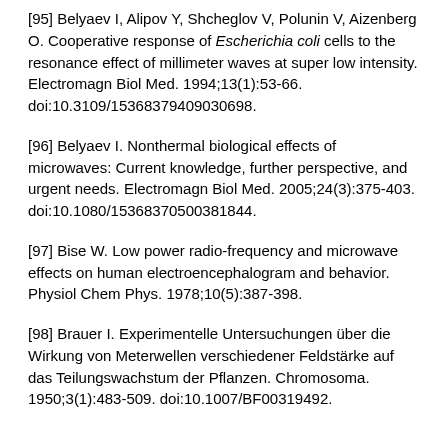[95] Belyaev I, Alipov Y, Shcheglov V, Polunin V, Aizenberg O. Cooperative response of Escherichia coli cells to the resonance effect of millimeter waves at super low intensity. Electromagn Biol Med. 1994;13(1):53-66. doi:10.3109/15368379409030698.
[96] Belyaev I. Nonthermal biological effects of microwaves: Current knowledge, further perspective, and urgent needs. Electromagn Biol Med. 2005;24(3):375-403. doi:10.1080/15368370500381844.
[97] Bise W. Low power radio-frequency and microwave effects on human electroencephalogram and behavior. Physiol Chem Phys. 1978;10(5):387-398.
[98] Brauer I. Experimentelle Untersuchungen über die Wirkung von Meterwellen verschiedener Feldstärke auf das Teilungswachstum der Pflanzen. Chromosoma. 1950;3(1):483-509. doi:10.1007/BF00319492.